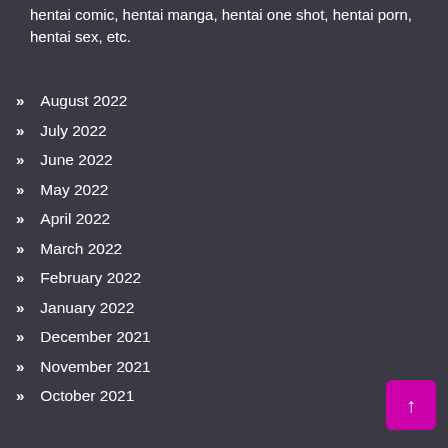hentai comic, hentai manga, hentai one shot, hentai porn, hentai sex, etc.
August 2022
July 2022
June 2022
May 2022
April 2022
March 2022
February 2022
January 2022
December 2021
November 2021
October 2021